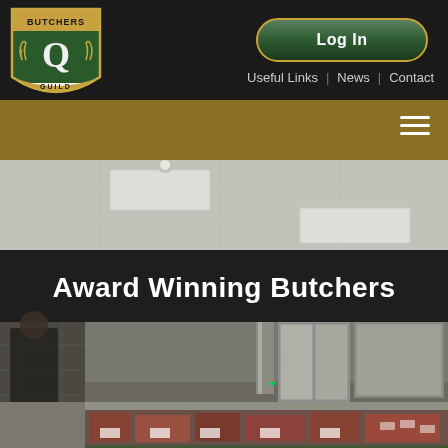[Figure (logo): Q Guild Butchers shield logo with green and gold colors, featuring a large Q letter and wreath design with BUTCHERS text at top and GUILD at bottom]
Log In
Useful Links | News | Contact
[Figure (screenshot): Interior photo of an award-winning butcher shop showing ceiling, dark fascia with 'Award Winning Butchers' text in white, refrigerated display counters with meat, stone pillar on left, stainless steel refrigerator units in background, and a staff member visible on the left side]